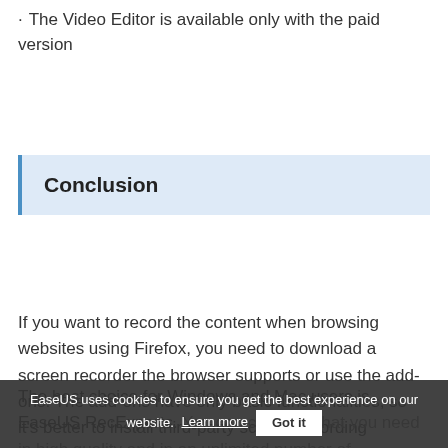The Video Editor is available only with the paid version
Conclusion
If you want to record the content when browsing websites using Firefox, you need to download a screen recorder the browser supports or use the add-ons. The add-ons have only basic functionalities, so it's better to install third-party screen-recording software.
The best choice for Windows and Mac users is EaseUS RecExperts. You can capture what you need in high quality and in an unlimited number of
EaseUS uses cookies to ensure you get the best experience on our website. Learn more  Got it